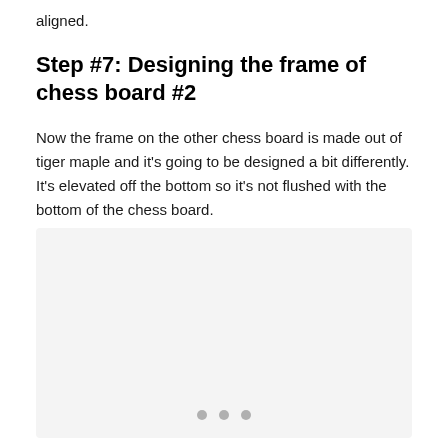aligned.
Step #7: Designing the frame of chess board #2
Now the frame on the other chess board is made out of tiger maple and it's going to be designed a bit differently. It's elevated off the bottom so it's not flushed with the bottom of the chess board.
[Figure (photo): Large light gray image placeholder with three gray dots at the bottom center indicating an image carousel or loading state]